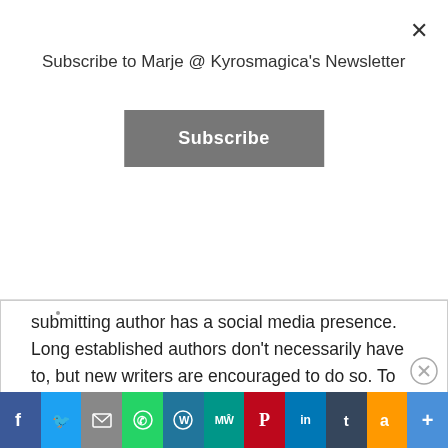Subscribe to Marje @ Kyrosmagica's Newsletter
[Figure (screenshot): Subscribe button in modal dialog]
submitting author has a social media presence. Long established authors don't necessarily have to, but new writers are encouraged to do so. To be a member of a writer's group, or to have successfully taken part in writing competitions, anything along these lines will give the editor a sense of the writers capabilities. But, don't rely on this alone, first and foremost it is the book itself
Advertisements
[Figure (screenshot): Discover new advertisement banner]
[Figure (infographic): Social media share buttons: Facebook, Twitter, Email, WhatsApp, WordPress, MeWe, Pinterest, LinkedIn, Tumblr, Amazon, More]